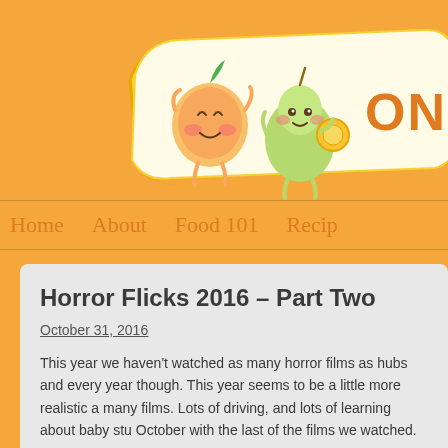[Figure (illustration): Cartoon logo banner with two cute fruit characters (a peach and a pear) on a yellow ribbon-style banner with orange text 'ONE' partially visible on the right]
Home   About   Food 101   Recip
Horror Flicks 2016 – Part Two
October 31, 2016
This year we haven't watched as many horror films as hubs and every year though. This year seems to be a little more realistic a many films. Lots of driving, and lots of learning about baby stu October with the last of the films we watched.